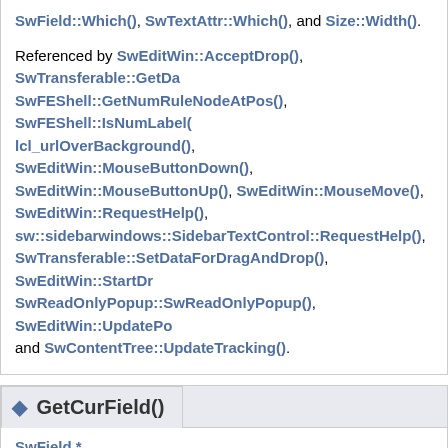SwField::Which(), SwTextAttr::Which(), and Size::Width(). Referenced by SwEditWin::AcceptDrop(), SwTransferable::GetData(), SwFEShell::GetNumRuleNodeAtPos(), SwFEShell::IsNumLabel(), lcl_urlOverBackground(), SwEditWin::MouseButtonDown(), SwEditWin::MouseButtonUp(), SwEditWin::MouseMove(), SwEditWin::RequestHelp(), sw::sidebarwindows::SidebarTextControl::RequestHelp(), SwTransferable::SetDataForDragAndDrop(), SwEditWin::StartDrag(), SwReadOnlyPopup::SwReadOnlyPopup(), SwEditWin::UpdatePopup(), and SwContentTree::UpdateTracking().
GetCurField()
SwField *
SwCursorShell::GetCurField ( const bool bIncludeInputFieldAtStart =
Definition at line 961 of file crstrvl.cxx.
References